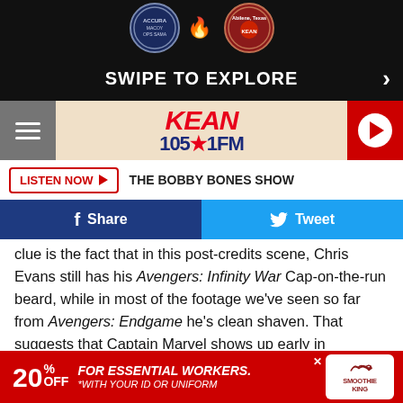[Figure (screenshot): Top navigation banner with logos and SWIPE TO EXPLORE text]
[Figure (logo): KEAN 105.1 FM radio station header with hamburger menu and play button]
LISTEN NOW ▶  THE BOBBY BONES SHOW
Share   Tweet
clue is the fact that in this post-credits scene, Chris Evans still has his Avengers: Infinity War Cap-on-the-run beard, while in most of the footage we've seen so far from Avengers: Endgame he's clean shaven. That suggests that Captain Marvel shows up early in Endgame, before Steve gets a haircut, rather than appearing near the end to make a last-minute save of the surviving Avengers. (Captain America
[Figure (infographic): Advertisement: 20% OFF FOR ESSENTIAL WORKERS. *WITH YOUR ID OR UNIFORM. Smoothie King logo.]